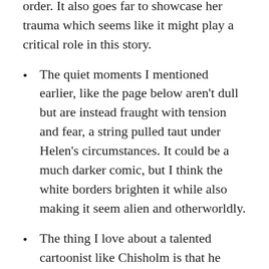and events that are sometimes out of order. It also goes far to showcase her trauma which seems like it might play a critical role in this story.
The quiet moments I mentioned earlier, like the page below aren't dull but are instead fraught with tension and fear, a string pulled taut under Helen's circumstances. It could be a much darker comic, but I think the white borders brighten it while also making it seem alien and otherworldly.
The thing I love about a talented cartoonist like Chisholm is that he does everything, and he does it well. Yes, some pages can be text-heavy, but as artist and letterer, he makes